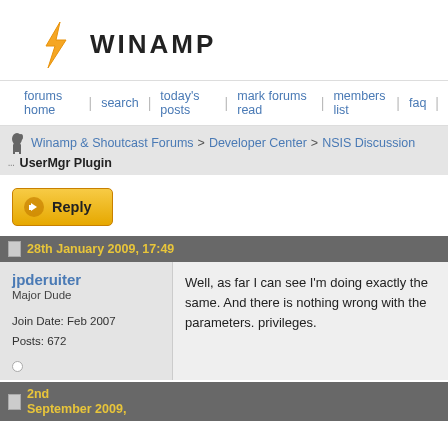[Figure (logo): Winamp logo: orange lightning bolt icon followed by bold text WINAMP]
forums home | search | today's posts | mark forums read | members list | faq |
Winamp & Shoutcast Forums > Developer Center > NSIS Discussion
... UserMgr Plugin
Reply
28th January 2009, 17:49
jpderuiter
Major Dude

Join Date: Feb 2007
Posts: 672
Well, as far I can see I'm doing exactly the same. And there is nothing wrong with the parameters. privileges.
2nd September 2009,